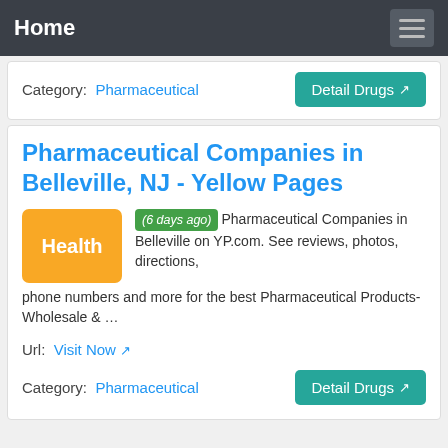Home
Category: Pharmaceutical
Detail Drugs
Pharmaceutical Companies in Belleville, NJ - Yellow Pages
(6 days ago) Pharmaceutical Companies in Belleville on YP.com. See reviews, photos, directions, phone numbers and more for the best Pharmaceutical Products-Wholesale & ...
Url: Visit Now
Category: Pharmaceutical
Detail Drugs